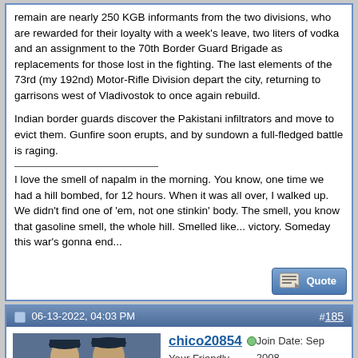remain are nearly 250 KGB informants from the two divisions, who are rewarded for their loyalty with a week's leave, two liters of vodka and an assignment to the 70th Border Guard Brigade as replacements for those lost in the fighting. The last elements of the 73rd (my 192nd) Motor-Rifle Division depart the city, returning to garrisons west of Vladivostok to once again rebuild.

Indian border guards discover the Pakistani infiltrators and move to evict them. Gunfire soon erupts, and by sundown a full-fledged battle is raging.

I love the smell of napalm in the morning. You know, one time we had a hill bombed, for 12 hours. When it was all over, I walked up. We didn't find one of 'em, not one stinkin' body. The smell, you know that gasoline smell, the whole hill. Smelled like... victory. Someday this war's gonna end...
06-13-2022, 04:03 PM
#185
[Figure (photo): Avatar image of two men in military/police uniforms]
chico20854
Your Friendly 92Y20!
Join Date: Sep 2008
Location: Washington, DC area
Posts: 1,068